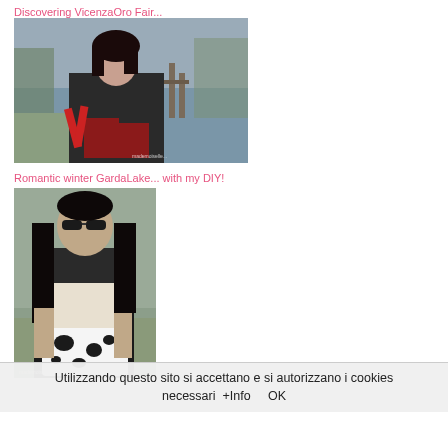Discovering VicenzaOro Fair...
[Figure (photo): Woman with dark hair sitting outdoors near a lake, wearing a dark jacket and maroon/red pants, holding a red bag. Winter outdoor setting with water and dock in background.]
Romantic winter GardaLake... with my DIY!
[Figure (photo): Woman with long dark hair and sunglasses, wearing a light and dark outfit, holding a black and white dalmatian-print clutch bag. Outdoor setting with trees in background.]
Utilizzando questo sito si accettano e si autorizzano i cookies necessari  +Info      OK